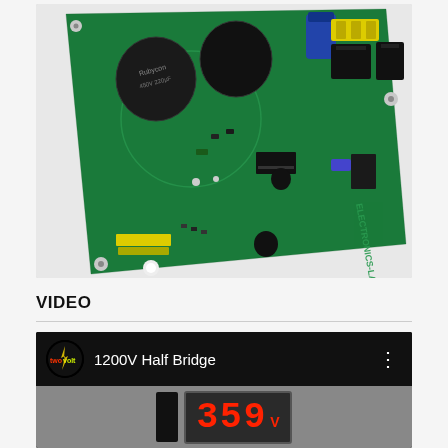[Figure (photo): Photo of a green PCB circuit board with large electrolytic capacitors, MOSFETs or IGBTs, yellow terminal blocks, a microcontroller IC, and various SMD components. The board is labeled ELECTRONICS-LAB.COM and appears to be a 1200V Half Bridge driver board.]
VIDEO
[Figure (screenshot): YouTube video thumbnail showing channel icon 'twovolt' and title '1200V Half Bridge', with a video still showing a digital display reading '359' with a V unit indicator.]